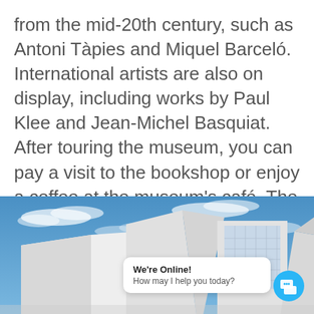from the mid-20th century, such as Antoni Tàpies and Miquel Barceló. International artists are also on display, including works by Paul Klee and Jean-Michel Basquiat. After touring the museum, you can pay a visit to the bookshop or enjoy a coffee at the museum's café. The surrounding area has become a popular spot for young skateboards and many artists who have set up their workshops here.
[Figure (photo): Photograph of a modern white angular building with geometric facades against a blue sky with white clouds. A chat widget overlay reads 'We're Online! How may I help you today?' with a blue circular chat icon button.]